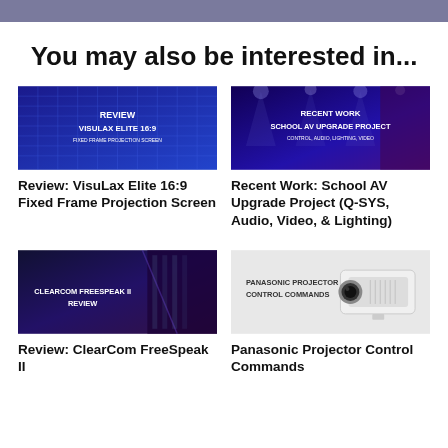You may also be interested in...
[Figure (screenshot): Blue-lit grid/screen image with text: REVIEW VISULAX ELITE 16:9 FIXED FRAME PROJECTION SCREEN]
Review: VisuLax Elite 16:9 Fixed Frame Projection Screen
[Figure (screenshot): Blue stage lighting image with text: RECENT WORK SCHOOL AV UPGRADE PROJECT CONTROL, AUDIO, LIGHTING, VIDEO]
Recent Work: School AV Upgrade Project (Q-SYS, Audio, Video, & Lighting)
[Figure (screenshot): Dark blue/purple image with text: CLEARCOM FREESPEAK II REVIEW]
Review: ClearCom FreeSpeak II
[Figure (screenshot): Light grey background with white projector and text: PANASONIC PROJECTOR CONTROL COMMANDS]
Panasonic Projector Control Commands